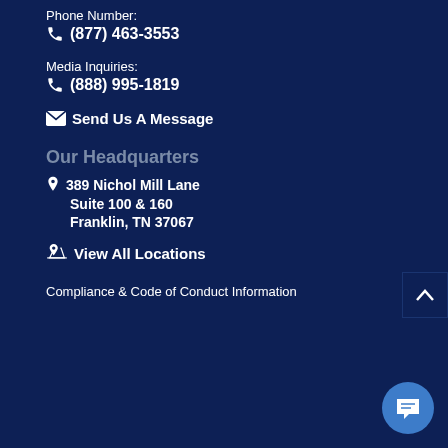Phone Number:
(877) 463-3553
Media Inquiries:
(888) 995-1819
Send Us A Message
Our Headquarters
389 Nichol Mill Lane
Suite 100 & 160
Franklin, TN 37067
View All Locations
Compliance & Code of Conduct Information